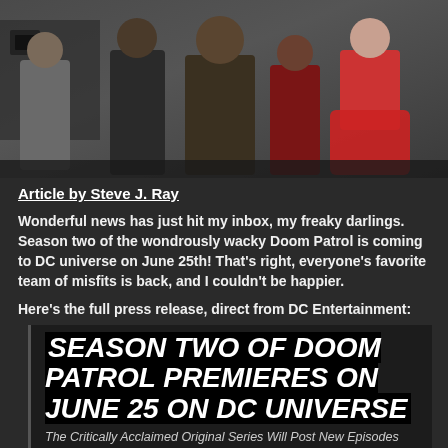[Figure (photo): Group photo of the Doom Patrol cast members posing together in costume against a dark industrial background]
Article by Steve J. Ray
Wonderful news has just hit my inbox, my freaky darlings. Season two of the wondrously wacky Doom Patrol is coming to DC universe on June 25th! That's right, everyone's favorite team of misfits is back, and I couldn't be happier.
Here's the full press release, direct from DC Entertainment:
SEASON TWO OF DOOM PATROL PREMIERES ON JUNE 25 ON DC UNIVERSE
The Critically Acclaimed Original Series Will Post New Episodes Every Thursday